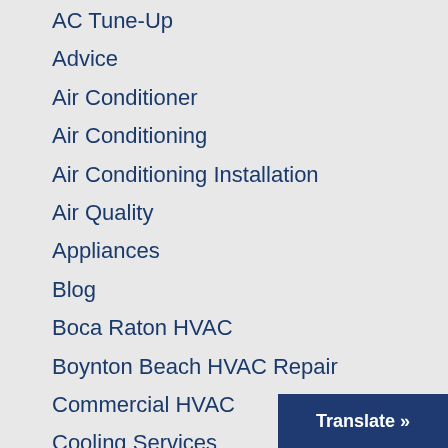AC Tune-Up
Advice
Air Conditioner
Air Conditioning
Air Conditioning Installation
Air Quality
Appliances
Blog
Boca Raton HVAC
Boynton Beach HVAC Repair
Commercial HVAC
Cooling Services
Coronavirus
Deerfield Beach HVAC
Translate »